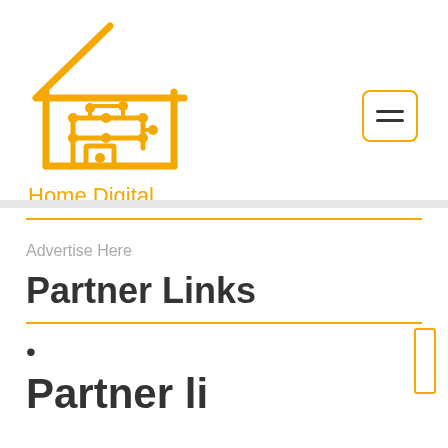[Figure (logo): Home Digital logo: yellow circuit-board house icon with text 'Home Digital' below in orange/yellow]
[Figure (other): Hamburger menu button with two horizontal lines, rounded rectangle border in gold/yellow]
Advertise Here
Partner Links
•
Partner li...